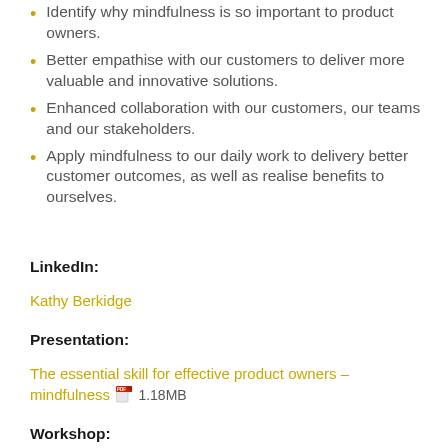Identify why mindfulness is so important to product owners.
Better empathise with our customers to deliver more valuable and innovative solutions.
Enhanced collaboration with our customers, our teams and our stakeholders.
Apply mindfulness to our daily work to delivery better customer outcomes, as well as realise benefits to ourselves.
LinkedIn:
Kathy Berkidge
Presentation:
The essential skill for effective product owners – mindfulness 📄 1.18MB
Workshop:
How Product Owners can really understand